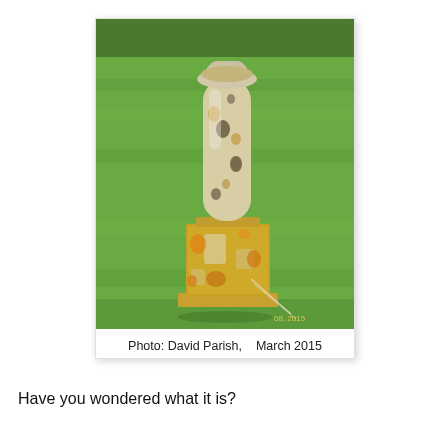[Figure (photo): A weathered stone column or sundial on a square plinth, heavily covered with orange and yellow lichen, standing on a flat stone base in a green grass field. Photo credit: David Parish, March 2015.]
Photo: David Parish,    March 2015
Have you wondered what it is?